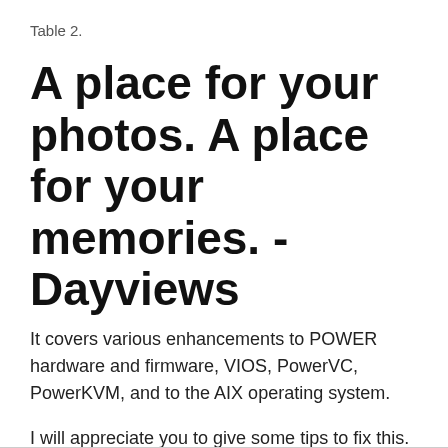Table 2.
A place for your photos. A place for your memories. - Dayviews
It covers various enhancements to POWER hardware and firmware, VIOS, PowerVC, PowerKVM, and to the AIX operating system.
I will appreciate you to give some tips to fix this.